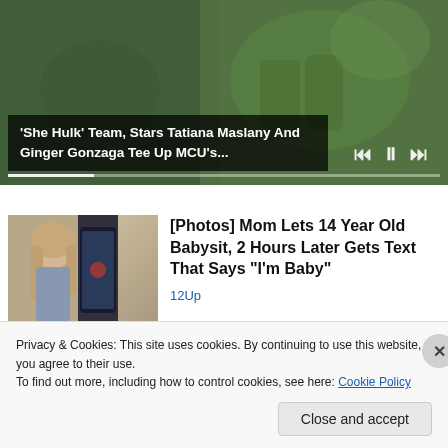[Figure (screenshot): Video player showing She Hulk promotional content with greenish background, playback controls (skip back, pause, skip forward) and a progress bar at the bottom]
'She Hulk' Team, Stars Tatiana Maslany And Ginger Gonzaga Tee Up MCU's...
[Figure (photo): Thumbnail photo of a young girl with long blonde hair next to a phone screen]
[Photos] Mom Lets 14 Year Old Babysit, 2 Hours Later Gets Text That Says "I'm Baby"
12Up
Privacy & Cookies: This site uses cookies. By continuing to use this website, you agree to their use.
To find out more, including how to control cookies, see here: Cookie Policy
Close and accept